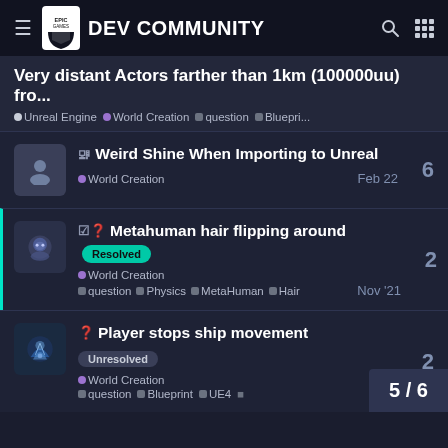Epic Games DEV COMMUNITY
Very distant Actors farther than 1km (100000uu) fro...
Unreal Engine • World Creation • question • Bluepri...
Weird Shine When Importing to Unreal — World Creation — Feb 22 — 6 replies
Metahuman hair flipping around [Resolved] — World Creation — question • Physics • MetaHuman • Hair — Nov '21 — 2 replies
Player stops ship movement [Unresolved] — World Creation — question • Blueprint • UE4 — 2 replies — 5/6